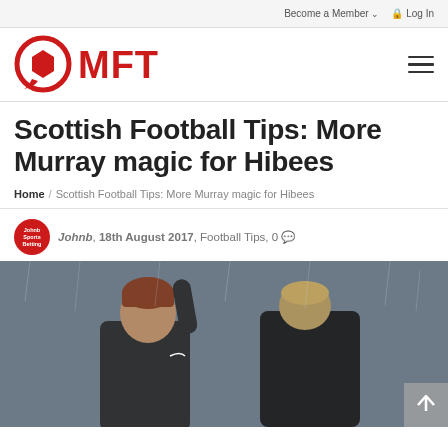Become a Member  Log In
[Figure (logo): MFT website logo — red circle with hexagon shape and MFT text in red]
Scottish Football Tips: More Murray magic for Hibees
Home / Scottish Football Tips: More Murray magic for Hibees
Johnb, 18th August 2017, Football Tips, 0
[Figure (photo): Two men in dark jackets on a football pitch, one with reddish hair celebrating with arm raised, rain visible]